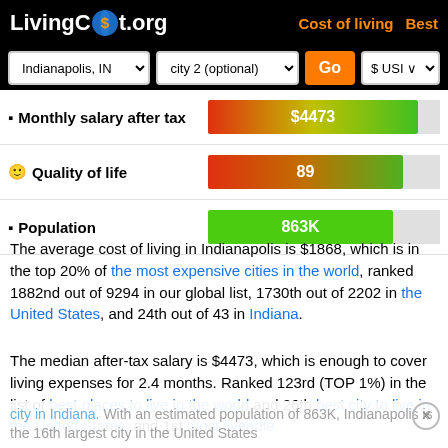LivingCost.org — Cost of living | Best
Indianapolis, IN | city 2 (optional) | Go | $ USI
Monthly salary after tax: $4473
Quality of life: 89
Population: 863K
The average cost of living in Indianapolis is $1868, which is in the top 20% of the most expensive cities in the world, ranked 1882nd out of 9294 in our global list, 1730th out of 2202 in the United States, and 24th out of 43 in Indiana.
The median after-tax salary is $4473, which is enough to cover living expenses for 2.4 months. Ranked 123rd (TOP 1%) in the list of best places to live in the world and 26th best city to live in the United States, and 1st most liveable city in Indiana. With an estimated population of 863K, Indianapolis is the 16th largest city in the United States